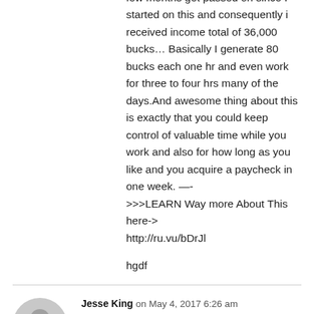few months get passed on since I started on this and consequently i received income total of 36,000 bucks… Basically I generate 80 bucks each one hr and even work for three to four hrs many of the days.And awesome thing about this is exactly that you could keep control of valuable time while you work and also for how long as you like and you acquire a paycheck in one week. —->>>LEARN Way more About This here-> http://ru.vu/bDrJl
hgdf
Jesse King on May 4, 2017 6:26 am
I tried freelancing over net, participating in some basic tasks which definitely requisite a computer